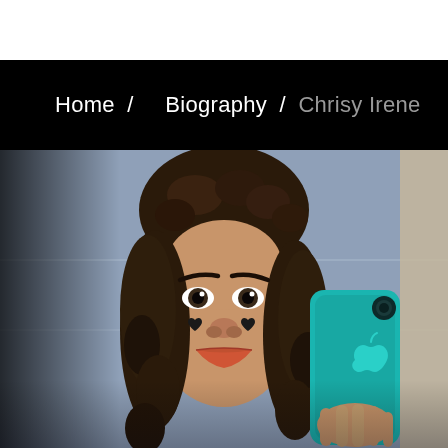Home / Biography / Chrisy Irene
[Figure (photo): Young woman with curly hair taking a mirror selfie with a teal/turquoise iPhone, making a pouty face with heart emoji filter marks on her cheeks. Background is a blue-grey tiled bathroom mirror.]